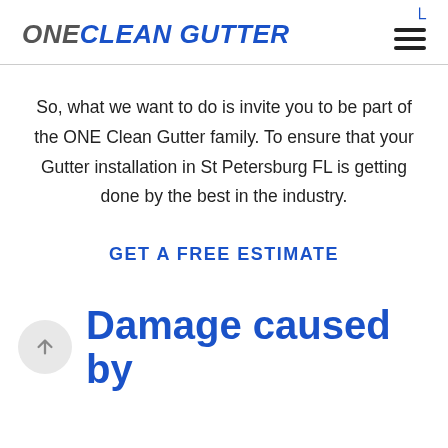ONE CLEAN GUTTER
So, what we want to do is invite you to be part of the ONE Clean Gutter family. To ensure that your Gutter installation in St Petersburg FL is getting done by the best in the industry.
GET A FREE ESTIMATE
Damage caused by